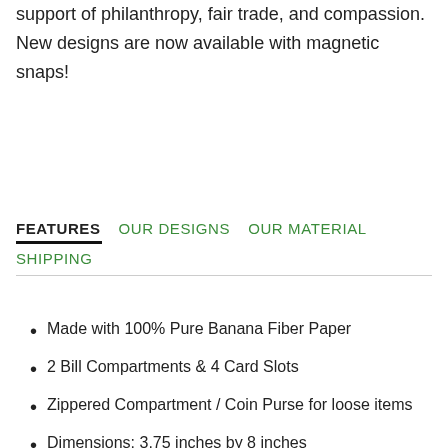support of philanthropy, fair trade, and compassion.  New designs are now available with magnetic snaps!
FEATURES   OUR DESIGNS   OUR MATERIAL   SHIPPING
Made with 100% Pure Banana Fiber Paper
2 Bill Compartments & 4 Card Slots
Zippered Compartment / Coin Purse for loose items
Dimensions: 3.75 inches by 8 inches
Industrial Sewn Construction
Gift-ready packaging; includes 'How It's Made' story card & bonus sticker